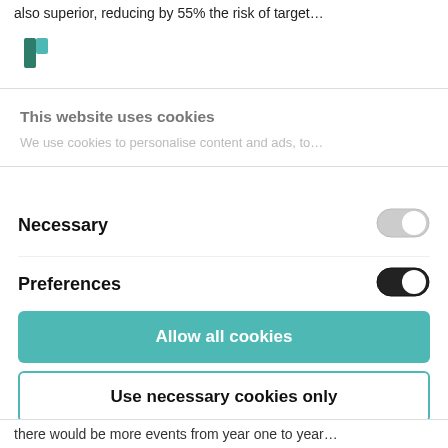also superior, reducing by 55% the risk of target…
[Figure (logo): Small green/teal flag-like logo icon]
This website uses cookies
We use cookies to personalise content and ads, to…
Necessary
[Figure (other): Toggle switch in OFF/gray state]
Preferences
[Figure (other): Toggle switch in ON/dark state (partially visible)]
Allow all cookies
Use necessary cookies only
Powered by Cookiebot by Usercentrics
there would be more events from year one to year…